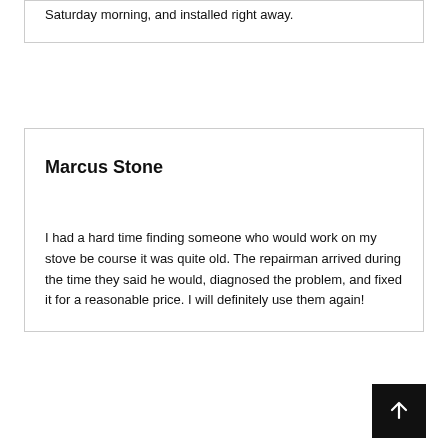Saturday morning, and installed right away.
Marcus Stone
I had a hard time finding someone who would work on my stove be course it was quite old. The repairman arrived during the time they said he would, diagnosed the problem, and fixed it for a reasonable price. I will definitely use them again!